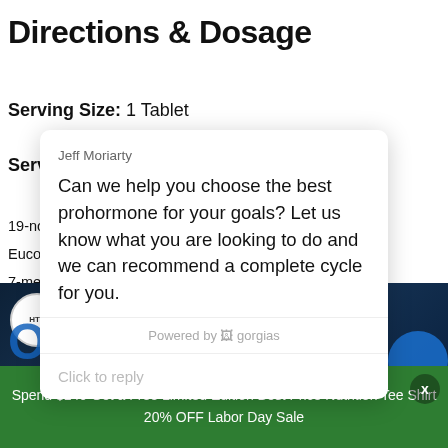Directions & Dosage
Serving Size: 1 Tablet
Servings Per Containe
19-nor-androst-4-ene-17
Eucommia Ulmoides 10
7-methoxy-8-(3-methylb
Label
[Figure (screenshot): Chat popup from Jeff Moriarty asking to help choose best prohormone for user goals, powered by gorgias, with click to reply field]
Jeff Moriarty
Can we help you choose the best prohormone for your goals? Let us know what you are looking to do and we can recommend a complete cycle for you.
Powered by gorgias
Click to reply
[Figure (photo): Product label photo showing OstaPlex supplement bottle with Cyclosome Delivery and HTL Pharmaceuticals branding]
Spend $149 Get a Free Limited Edition Best Price Nutrition Tee Shirt 20% OFF Labor Day Sale